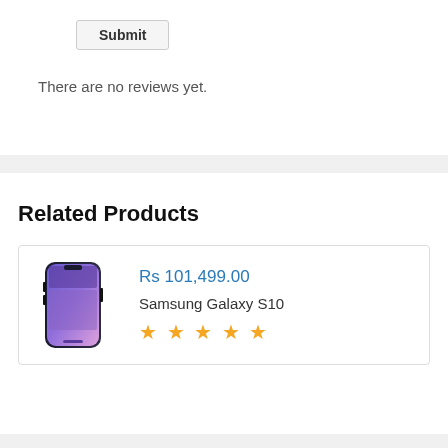Submit
There are no reviews yet.
Related Products
[Figure (photo): Samsung Galaxy S10 smartphone product image]
Rs 101,499.00
Samsung Galaxy S10
★★★★★ (5 stars rating)